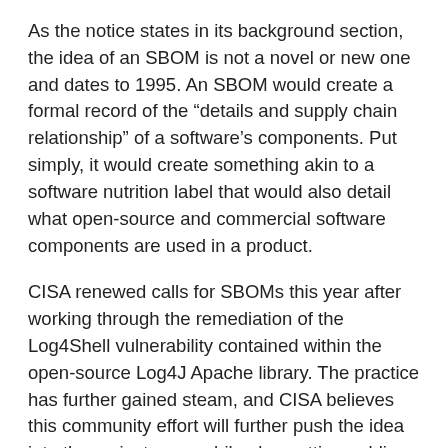As the notice states in its background section, the idea of an SBOM is not a novel or new one and dates to 1995. An SBOM would create a formal record of the “details and supply chain relationship” of a software’s components. Put simply, it would create something akin to a software nutrition label that would also detail what open-source and commercial software components are used in a product.
CISA renewed calls for SBOMs this year after working through the remediation of the Log4Shell vulnerability contained within the open-source Log4J Apache library. The practice has further gained steam, and CISA believes this community effort will further push the idea into the mainstream, while also getting public feedback on how to refine the process.
The sessions will run virtually from July 12 through July 21. The dial-in information for the calls will be available on CISA’s SBOM website. The dates and times of the